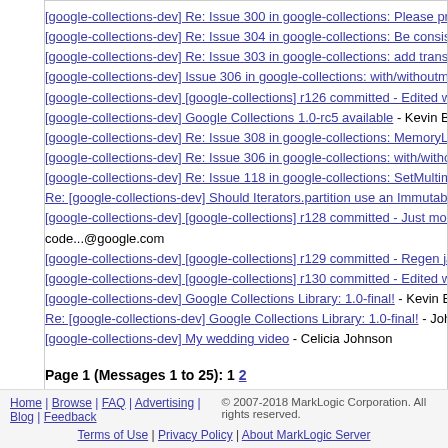[google-collections-dev] Re: Issue 300 in google-collections: Please pr...
[google-collections-dev] Re: Issue 304 in google-collections: Be consis...
[google-collections-dev] Re: Issue 303 in google-collections: add transf...
[google-collections-dev] Issue 306 in google-collections: with/withoutme...
[google-collections-dev] [google-collections] r126 committed - Edited wi...
[google-collections-dev] Google Collections 1.0-rc5 available - Kevin Bo...
[google-collections-dev] Re: Issue 308 in google-collections: MemoryLe...
[google-collections-dev] Re: Issue 306 in google-collections: with/witho...
[google-collections-dev] Re: Issue 118 in google-collections: SetMultim...
Re: [google-collections-dev] Should Iterators.partition use an Immutabl...
[google-collections-dev] [google-collections] r128 committed - Just mov... code...@google.com
[google-collections-dev] [google-collections] r129 committed - Regen ja...
[google-collections-dev] [google-collections] r130 committed - Edited wi...
[google-collections-dev] Google Collections Library: 1.0-final! - Kevin Bo...
Re: [google-collections-dev] Google Collections Library: 1.0-final! - Joh...
[google-collections-dev] My wedding video - Celicia Johnson
Page 1 (Messages 1 to 25): 1 2
Home | Browse | FAQ | Advertising | Blog | Feedback | Terms of Use | Privacy Policy | About MarkLogic Server   © 2007-2018 MarkLogic Corporation. All rights reserved.